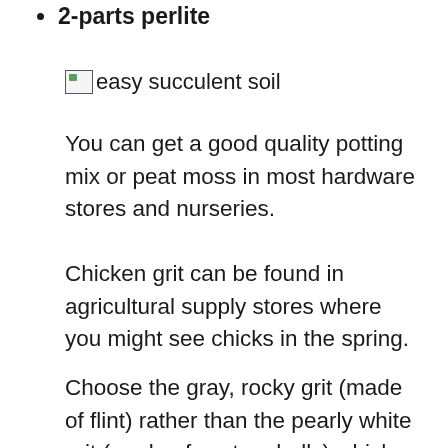2-parts perlite
[Figure (photo): Broken image placeholder labeled 'easy succulent soil']
You can get a good quality potting mix or peat moss in most hardware stores and nurseries.
Chicken grit can be found in agricultural supply stores where you might see chicks in the spring.
Choose the gray, rocky grit (made of flint) rather than the pearly white grit (made of oyster shells) which can introduce